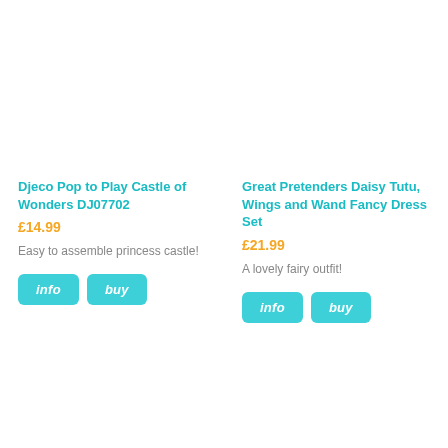Djeco Pop to Play Castle of Wonders DJ07702
£14.99
Easy to assemble princess castle!
Great Pretenders Daisy Tutu, Wings and Wand Fancy Dress Set
£21.99
A lovely fairy outfit!